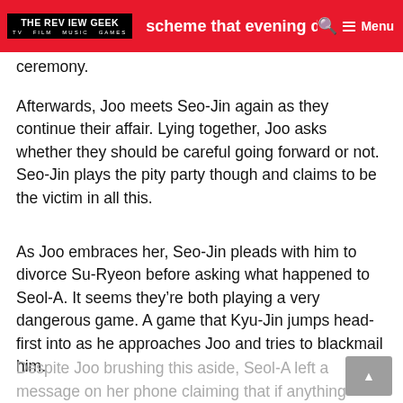THE REVIEW GEEK — scheme that evening during the lighting ceremony.
Afterwards, Joo meets Seo-Jin again as they continue their affair. Lying together, Joo asks whether they should be careful going forward or not. Seo-Jin plays the pity party though and claims to be the victim in all this.
As Joo embraces her, Seo-Jin pleads with him to divorce Su-Ryeon before asking what happened to Seol-A. It seems they're both playing a very dangerous game. A game that Kyu-Jin jumps head-first into as he approaches Joo and tries to blackmail him.
Despite Joo brushing this aside, Seol-A left a message on her phone claiming that if anything